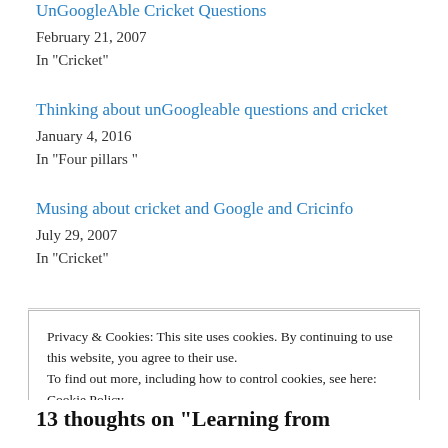UnGoogleAble Cricket Questions
February 21, 2007
In "Cricket"
Thinking about unGoogleable questions and cricket
January 4, 2016
In "Four pillars "
Musing about cricket and Google and Cricinfo
July 29, 2007
In "Cricket"
Privacy & Cookies: This site uses cookies. By continuing to use this website, you agree to their use.
To find out more, including how to control cookies, see here:
Cookie Policy
Close and accept
13 thoughts on “Learning from